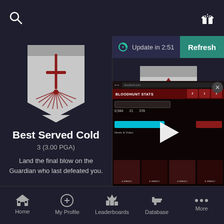Search | Update in 2:51 | Refresh
[Figure (illustration): Shield/banner emblem with sword and sunburst design in dark red on grey background for 'Best Served Cold' achievement]
Best Served Cold
3 (3.00 PGA)
Land the final blow on the Guardian who last defeated you.
[Figure (illustration): Shield/banner emblem with triangular geometric design in dark red on grey background for 'Blood For Blood' achievement]
Blood For Blood
[Figure (screenshot): Screenshot of Bloodhunt stats website with red UI elements, stat bars, cyan button, and weekly video thumbnails, overlaid with a play button triangle]
Home | My Profile | Leaderboards | Database | More